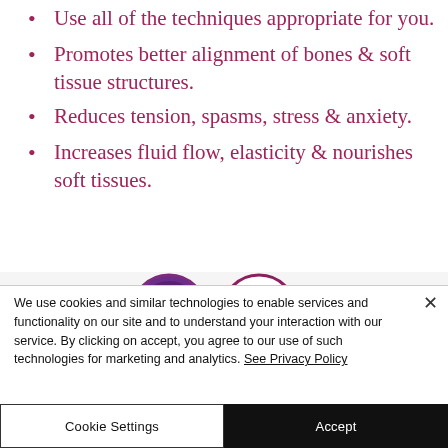Use all of the techniques appropriate for you.
Promotes better alignment of bones & soft tissue structures.
Reduces tension, spasms, stress & anxiety.
Increases fluid flow, elasticity & nourishes soft tissues.
[Figure (illustration): Partial view of two circular icons/badges at the bottom of the content area, partially cropped. One shows a green/purple circular image, the other shows text 'TIME' in a circle.]
We use cookies and similar technologies to enable services and functionality on our site and to understand your interaction with our service. By clicking on accept, you agree to our use of such technologies for marketing and analytics. See Privacy Policy